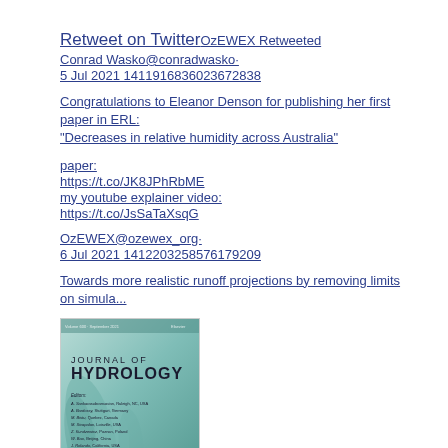Retweet on TwitterOzEWEX Retweeted
Conrad Wasko@conradwasko·
5 Jul 2021 1411916836023672838
Congratulations to Eleanor Denson for publishing her first paper in ERL: "Decreases in relative humidity across Australia"
paper:
https://t.co/JK8JPhRbME
my youtube explainer video:
https://t.co/JsSaTaXsqG
OzEWEX@ozewex_org·
6 Jul 2021 1412203258576179209
Towards more realistic runoff projections by removing limits on simula...
[Figure (photo): Cover image of the Journal of Hydrology, Volume 600, September 2021. Teal/green background with plant imagery and list of editors including A. Sankarasubramanian, A. Bardossy, M. Bistu, M. Sivapalan, Z. Kundzewicz, W. Bao, J. Rolando, E. L. Timmerman.]